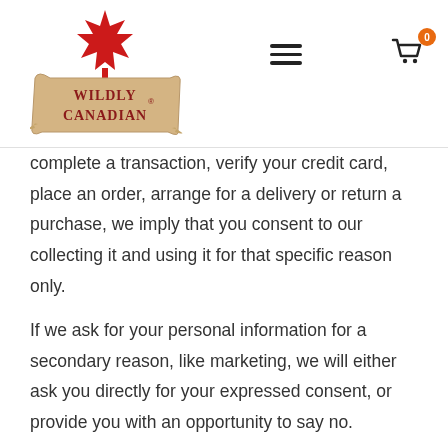Wildly Canadian — navigation header
complete a transaction, verify your credit card, place an order, arrange for a delivery or return a purchase, we imply that you consent to our collecting it and using it for that specific reason only.
If we ask for your personal information for a secondary reason, like marketing, we will either ask you directly for your expressed consent, or provide you with an opportunity to say no.
How do I withdraw my consent?
If after you opt-in, you change your mind, you may withdraw your consent for us to contact you, for the